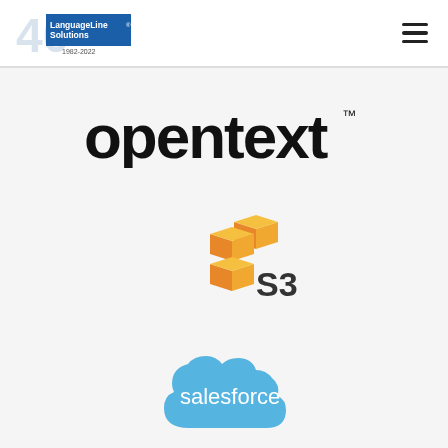LanguageLine Solutions 40 1982-2022
[Figure (logo): OpenText logo with trademark symbol]
[Figure (logo): Amazon S3 logo with orange 3D cube icons and S3 text]
[Figure (logo): Salesforce logo with blue cloud shape and white salesforce text]